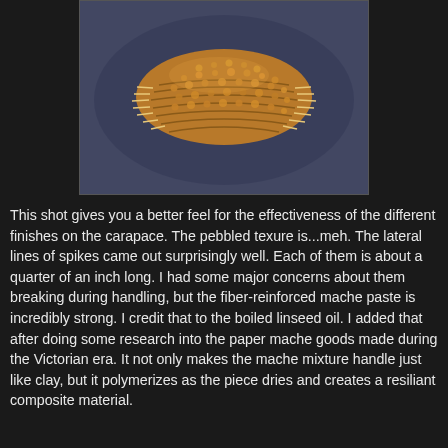[Figure (photo): Close-up photograph of a segmented arthropod or crustacean carapace replica, tan/golden-brown in color with a pebbled texture and lateral rows of small spikes along both sides, photographed against a dark blue-gray background.]
This shot gives you a better feel for the effectiveness of the different finishes on the carapace. The pebbled texure is...meh. The lateral lines of spikes came out surprisingly well. Each of them is about a quarter of an inch long. I had some major concerns about them breaking during handling, but the fiber-reinforced mache paste is incredibly strong. I credit that to the boiled linseed oil. I added that after doing some research into the paper mache goods made during the Victorian era. It not only makes the mache mixture handle just like clay, but it polymerizes as the piece dries and creates a resiliant composite material.